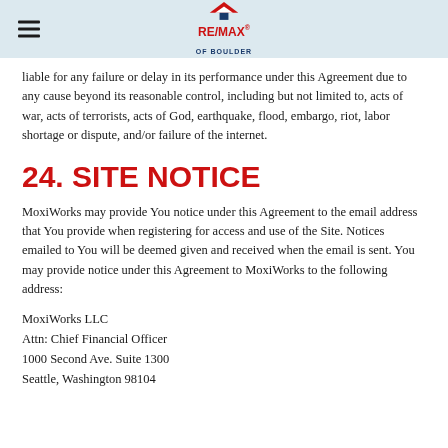RE/MAX of Boulder
liable for any failure or delay in its performance under this Agreement due to any cause beyond its reasonable control, including but not limited to, acts of war, acts of terrorists, acts of God, earthquake, flood, embargo, riot, labor shortage or dispute, and/or failure of the internet.
24. SITE NOTICE
MoxiWorks may provide You notice under this Agreement to the email address that You provide when registering for access and use of the Site. Notices emailed to You will be deemed given and received when the email is sent. You may provide notice under this Agreement to MoxiWorks to the following address:
MoxiWorks LLC
Attn: Chief Financial Officer
1000 Second Ave. Suite 1300
Seattle, Washington 98104